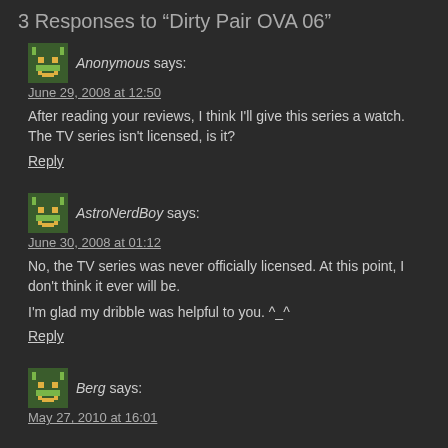3 Responses to “Dirty Pair OVA 06”
Anonymous says:
June 29, 2008 at 12:50
After reading your reviews, I think I'll give this series a watch. The TV series isn't licensed, is it?
Reply
AstroNerdBoy says:
June 30, 2008 at 01:12
No, the TV series was never officially licensed. At this point, I don't think it ever will be.
I'm glad my dribble was helpful to you. ^_^
Reply
Berg says:
May 27, 2010 at 16:01